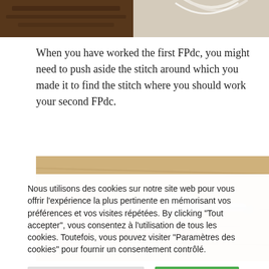[Figure (photo): Two photos at the top: left shows a dark brown wooden surface, right shows a light beige background with a white yarn loop]
When you have worked the first FPdc, you might need to push aside the stitch around which you made it to find the stitch where you should work your second FPdc.
[Figure (photo): Close-up photo of a crochet hook (metallic needle) being inserted through white yarn stitches on a wooden background with red accent]
Nous utilisons des cookies sur notre site web pour vous offrir l'expérience la plus pertinente en mémorisant vos préférences et vos visites répétées. By clicking "Tout accepter", vous consentez à l'utilisation de tous les cookies. Toutefois, vous pouvez visiter "Paramètres des cookies" pour fournir un consentement contrôlé.